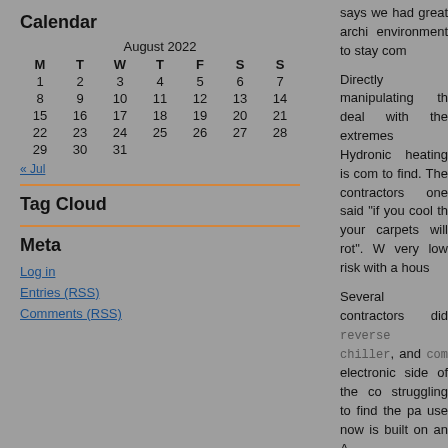| M | T | W | T | F | S | S |
| --- | --- | --- | --- | --- | --- | --- |
| 1 | 2 | 3 | 4 | 5 | 6 | 7 |
| 8 | 9 | 10 | 11 | 12 | 13 | 14 |
| 15 | 16 | 17 | 18 | 19 | 20 | 21 |
| 22 | 23 | 24 | 25 | 26 | 27 | 28 |
| 29 | 30 | 31 |  |  |  |  |
Calendar
Tag Cloud
Meta
Log in
Entries (RSS)
Comments (RSS)
says we had great archi environment to stay com
Directly manipulating th deal with the extremes Hydronic heating is com to find. The contractors one said "if you cool th your carpets will rot". W very low risk with a hous
Several contractors did reverse chiller, and com electronic side of the co struggling to find the pa use now is built on an A
[Figure (photo): Photo of electronic wiring/Arduino board on wooden surface]